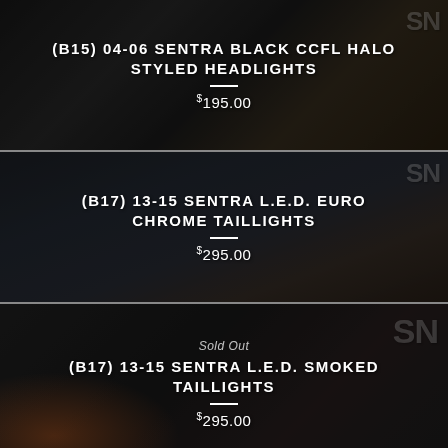[Figure (photo): Dark product card showing black CCFL halo styled headlights for B15 Sentra with SN logo watermark]
(B15) 04-06 SENTRA BLACK CCFL HALO STYLED HEADLIGHTS
$195.00
[Figure (photo): Dark product card showing L.E.D. Euro Chrome Taillights for B17 Sentra with SN logo watermark]
(B17) 13-15 SENTRA L.E.D. EURO CHROME TAILLIGHTS
$295.00
[Figure (photo): Dark product card showing L.E.D. Smoked Taillights for B17 Sentra with SN logo watermark, marked Sold Out]
Sold Out
(B17) 13-15 SENTRA L.E.D. SMOKED TAILLIGHTS
$295.00